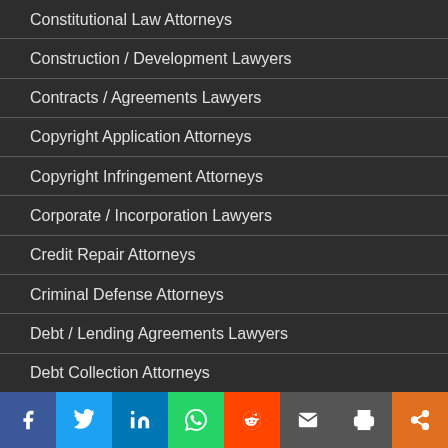Constitutional Law Attorneys
Construction / Development Lawyers
Contracts / Agreements Lawyers
Copyright Application Attorneys
Copyright Infringement Attorneys
Corporate / Incorporation Lawyers
Credit Repair Attorneys
Criminal Defense Attorneys
Debt / Lending Agreements Lawyers
Debt Collection Attorneys